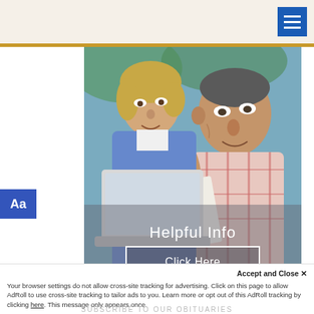[Figure (photo): Screenshot of a website page showing an elderly man and younger woman looking at a laptop, with 'Helpful Info' text and 'Click Here' button overlay on the photo. Top beige header bar with blue hamburger menu icon, gold divider line, blue 'Aa' accessibility button on left.]
Accept and Close ✕
Your browser settings do not allow cross-site tracking for advertising. Click on this page to allow AdRoll to use cross-site tracking to tailor ads to you. Learn more or opt out of this AdRoll tracking by clicking here. This message only appears once.